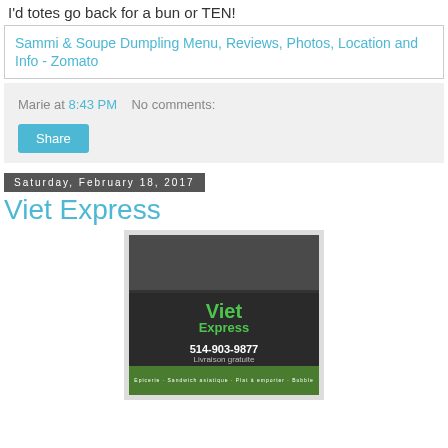I'd totes go back for a bun or TEN!
Sammi & Soupe Dumpling Menu, Reviews, Photos, Location and Info - Zomato
Marie at 8:43 PM   No comments:
Share
Saturday, February 18, 2017
Viet Express
[Figure (photo): Exterior photo of Viet Express restaurant storefront showing green logo, phone number 514-903-9877, Livraison gratuite text, and food images at bottom]